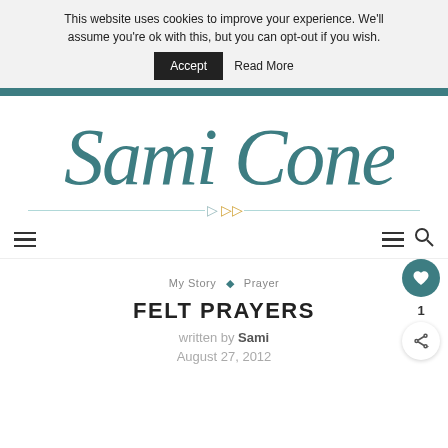This website uses cookies to improve your experience. We'll assume you're ok with this, but you can opt-out if you wish. Accept  Read More
[Figure (logo): Sami Cone script logo in teal with decorative double-arrow line below]
[Figure (infographic): Navigation bar with hamburger menu icon on left and hamburger plus search icon on right]
My Story  ◇  Prayer
FELT PRAYERS
written by Sami
August 27, 2012